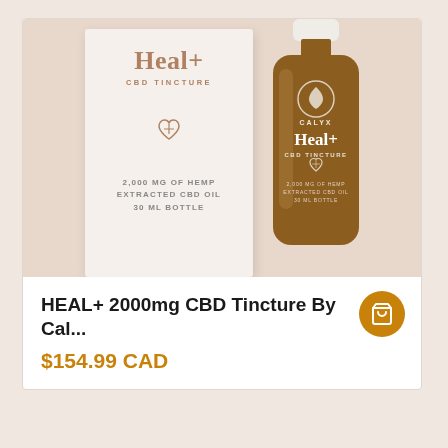[Figure (photo): Product photo showing Heal+ CBD Tincture box (white with rose-gold branding, 2,000 MG of hemp extracted CBD oil, 30 ML bottle) alongside an amber glass dropper bottle with white cap labeled Calyx Heal+ CBD Tincture, on a pinkish-beige background.]
HEAL+ 2000mg CBD Tincture By Cal...
$154.99 CAD